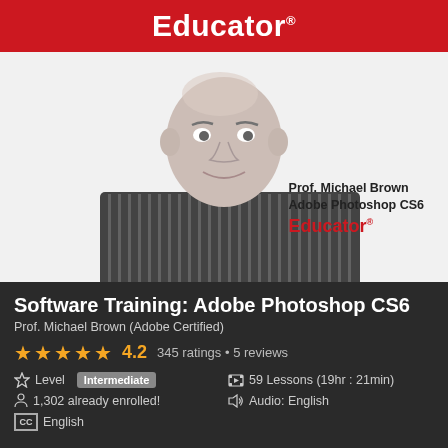Educator®
[Figure (photo): Black and white photo of Prof. Michael Brown, a middle-aged bald man in a striped shirt, smiling. Overlay text reads: Prof. Michael Brown / Adobe Photoshop CS6 / Educator®]
Software Training: Adobe Photoshop CS6
Prof. Michael Brown (Adobe Certified)
★★★★★ 4.2   345 ratings • 5 reviews
Level  Intermediate
59 Lessons (19hr : 21min)
1,302 already enrolled!
Audio: English
CC  English